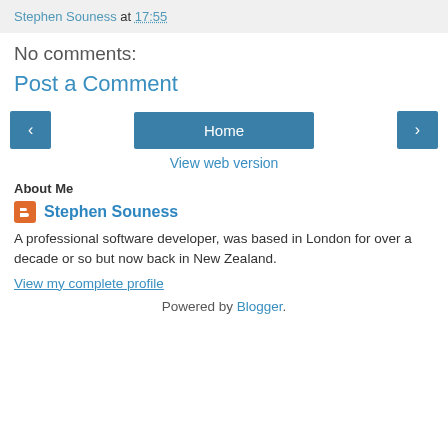Stephen Souness at 17:55
No comments:
Post a Comment
‹  Home  ›
View web version
About Me
Stephen Souness
A professional software developer, was based in London for over a decade or so but now back in New Zealand.
View my complete profile
Powered by Blogger.